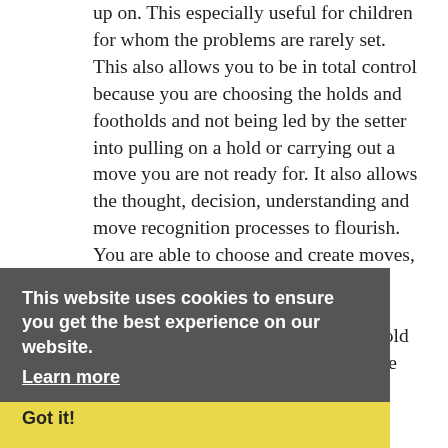up on. This especially useful for children for whom the problems are rarely set. This also allows you to be in total control because you are choosing the holds and footholds and not being led by the setter into pulling on a hold or carrying out a move you are not ready for. It also allows the thought, decision, understanding and move recognition processes to flourish. You are able to choose and create moves, something that is lacking in walls nowadays that don't have fixed hold boards. I was brought up on a fixed hold wall and the quality of the boulders we climbed on was down to our own creativity. So be creative, begin with simple moves on big holds, weight on your
This website uses cookies to ensure you get the best experience on our website. Learn more
Got it!